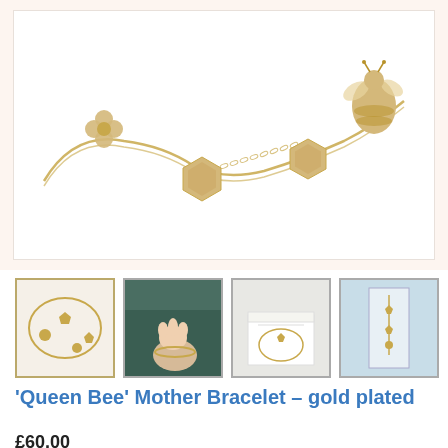[Figure (photo): Gold-plated 'Queen Bee' Mother Bracelet displayed on white background, showing chain with hexagon charms, flower charm, and bee charm in gold tone.]
[Figure (photo): Thumbnail 1: Bracelet on white background, showing full bracelet laid flat.]
[Figure (photo): Thumbnail 2: Bracelet worn on wrist of person wearing dark teal/green top, with baby hand reaching up.]
[Figure (photo): Thumbnail 3: Bracelet in white gift box with tissue paper.]
[Figure (photo): Thumbnail 4: Bracelet hanging on light blue/teal display card background.]
‘Queen Bee’ Mother Bracelet – gold plated
£60.00